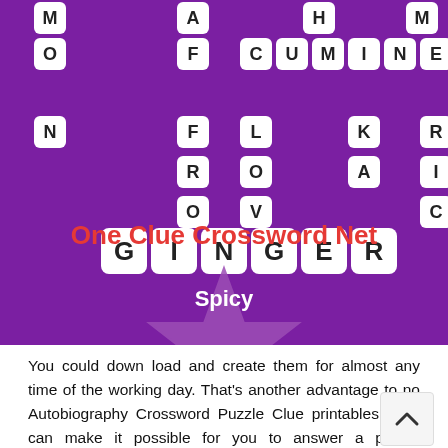[Figure (illustration): A crossword puzzle on a purple background showing intersecting spice words: CUMIN, CLOVE, SAFFRON, GINGER, PAPRIKA, TURMERIC arranged as crossword tiles. Below the puzzle: 'One Clue Crossword Net' in red text and a purple star with 'Spicy' written on it.]
You could down load and create them for almost any time of the working day. That's another advantage to no Autobiography Crossword Puzzle Clue printables. This can make it possible for you to answer a puzzle whenever they